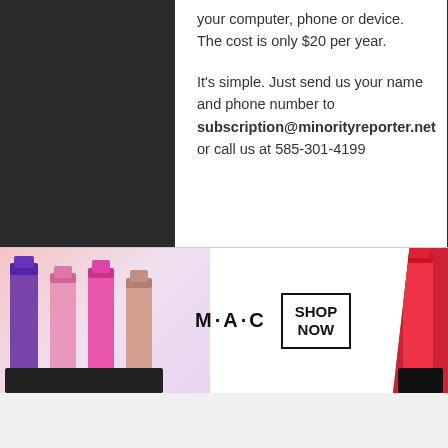your computer, phone or device. The cost is only $20 per year.

It's simple. Just send us your name and phone number to subscription@minorityreporter.net or call us at 585-301-4199
Connections
[Figure (screenshot): Infolinks bar at bottom left, and MAC cosmetics advertisement banner with lipsticks and SHOP NOW button]